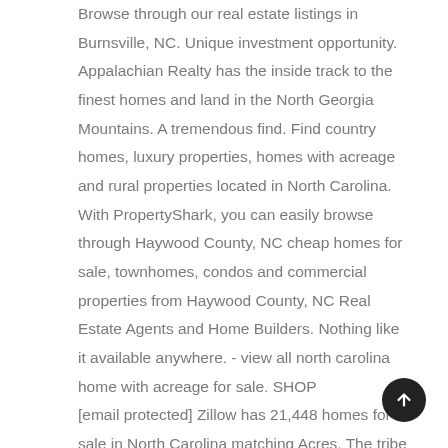Browse through our real estate listings in Burnsville, NC. Unique investment opportunity. Appalachian Realty has the inside track to the finest homes and land in the North Georgia Mountains. A tremendous find. Find country homes, luxury properties, homes with acreage and rural properties located in North Carolina. With PropertyShark, you can easily browse through Haywood County, NC cheap homes for sale, townhomes, condos and commercial properties from Haywood County, NC Real Estate Agents and Home Builders. Nothing like it available anywhere. - view all north carolina home with acreage for sale. SHOP [email protected] Zillow has 21,448 homes for sale in North Carolina matching Acres. The tribe member can mortgage, gift or sell the property as they see fit with the approval of the BIA. See pricing and listing details of Fuquay Varina real estate for sale. Any Browse 3,850 cheap houses for sale in North Carolina, priced up to $200,000. North Carolina realtors are here to offer detailed information about